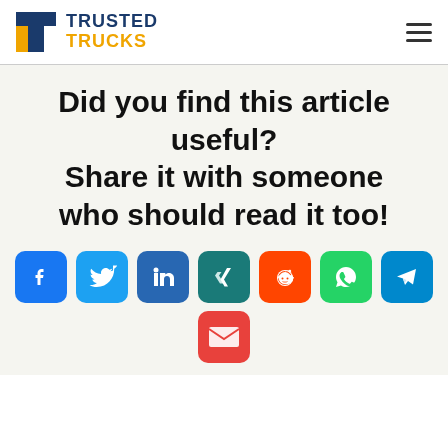TRUSTED TRUCKS
Did you find this article useful? Share it with someone who should read it too!
[Figure (infographic): Social sharing icons: Facebook, Twitter, LinkedIn, XING, Reddit, WhatsApp, Telegram, Email]